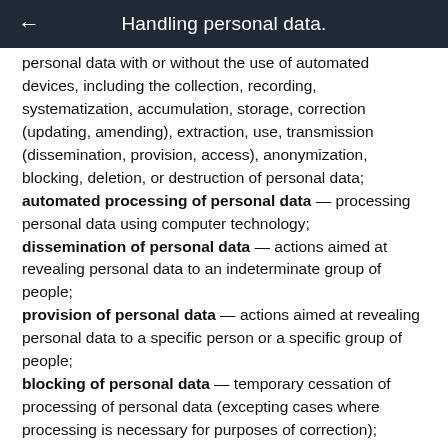Handling personal data.
personal data with or without the use of automated devices, including the collection, recording, systematization, accumulation, storage, correction (updating, amending), extraction, use, transmission (dissemination, provision, access), anonymization, blocking, deletion, or destruction of personal data;
automated processing of personal data — processing personal data using computer technology;
dissemination of personal data — actions aimed at revealing personal data to an indeterminate group of people;
provision of personal data — actions aimed at revealing personal data to a specific person or a specific group of people;
blocking of personal data — temporary cessation of processing of personal data (excepting cases where processing is necessary for purposes of correction);